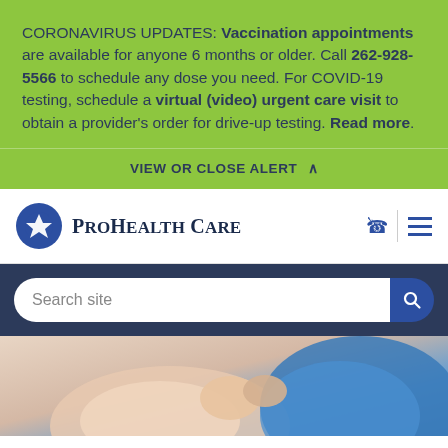CORONAVIRUS UPDATES: Vaccination appointments are available for anyone 6 months or older. Call 262-928-5566 to schedule any dose you need. For COVID-19 testing, schedule a virtual (video) urgent care visit to obtain a provider's order for drive-up testing. Read more.
VIEW OR CLOSE ALERT ^
[Figure (logo): ProHealth Care logo with blue circle containing a star/lightning bolt icon and the text ProHealth Care in serif font]
Search site
[Figure (photo): Medical professional (in blue scrubs) with a patient, hands visible]